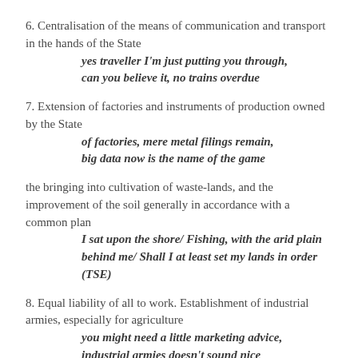6. Centralisation of the means of communication and transport in the hands of the State
	 yes traveller I'm just putting you through, can you believe it, no trains overdue
7. Extension of factories and instruments of production owned by the State
	 of factories, mere metal filings remain, big data now is the name of the game
the bringing into cultivation of waste-lands, and the improvement of the soil generally in accordance with a common plan
	 I sat upon the shore/ Fishing, with the arid plain behind me/ Shall I at least set my lands in order (TSE)
8. Equal liability of all to work. Establishment of industrial armies, especially for agriculture
	 you might need a little marketing advice, industrial armies doesn't sound nice